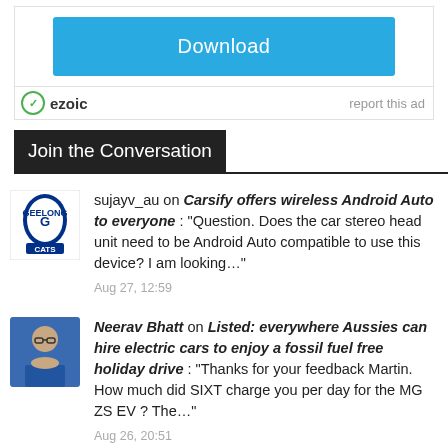[Figure (screenshot): Download button (blue) and ezoic ad footer with 'report this ad' link]
Join the Conversation
[Figure (photo): Geelong Cats logo avatar for user sujayv_au]
sujayv_au on Carsify offers wireless Android Auto to everyone : “Question. Does the car stereo head unit need to be Android Auto compatible to use this device? I am looking...”
Aug 27, 12:59
[Figure (photo): Profile photo of Neerav Bhatt]
Neerav Bhatt on Listed: everywhere Aussies can hire electric cars to enjoy a fossil fuel free holiday drive : “Thanks for your feedback Martin. How much did SIXT charge you per day for the MG ZS EV ? The...”
Aug 26, 20:51